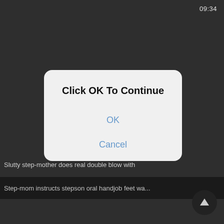09:34
[Figure (screenshot): Mobile app dark background with a dialog box overlay showing 'Click OK To Continue' with OK and Cancel options in blue text on a light gray rounded rectangle dialog]
Slutty step-mother does real double blow with
Step-mom instructs stepson oral handjob feet wa...